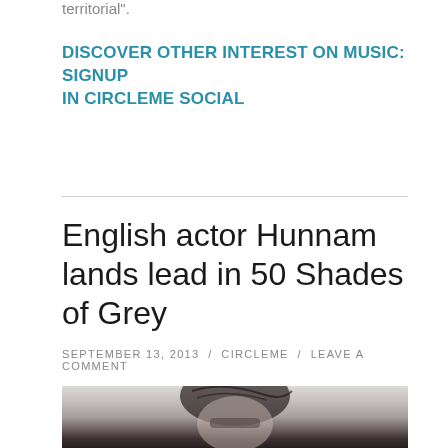territorial".
DISCOVER OTHER INTEREST ON MUSIC: SIGNUP IN CIRCLEME SOCIAL
English actor Hunnam lands lead in 50 Shades of Grey
SEPTEMBER 13, 2013  /  CIRCLEME  /  LEAVE A COMMENT
[Figure (photo): Black and white close-up photo of a man (Charlie Hunnam) with styled dark hair, head slightly bowed, dramatic lighting]